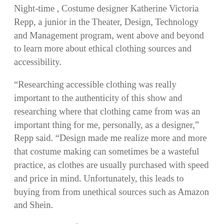Night-time , Costume designer Katherine Victoria Repp, a junior in the Theater, Design, Technology and Management program, went above and beyond to learn more about ethical clothing sources and accessibility.
“Researching accessible clothing was really important to the authenticity of this show and researching where that clothing came from was an important thing for me, personally, as a designer,” Repp said. “Design made me realize more and more that costume making can sometimes be a wasteful practice, as clothes are usually purchased with speed and price in mind. Unfortunately, this leads to buying from from unethical sources such as Amazon and Shein.
When shopping for her costume pieces, Repp has tried to avoid fast fashion companies that exploit their workers and make the clothes as cheap as possible. Instead, she opted for well-made and timeless basics to compose her basic